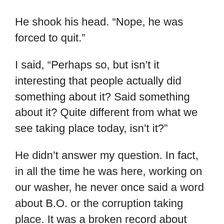He shook his head. “Nope, he was forced to quit.”
I said, “Perhaps so, but isn’t it interesting that people actually did something about it? Said something about it? Quite different from what we see taking place today, isn’t it?”
He didn’t answer my question. In fact, in all the time he was here, working on our washer, he never once said a word about B.O. or the corruption taking place. It was a broken record about George W. Bush. “We went to war for the oil.” This man has no clue what is happening currently in this country. Granted, he may have lost a few too many brain cells from his “peace, love & patchouli” days, but it was clearly apparent that there are so many people walking around out there, VOTING, who are completely